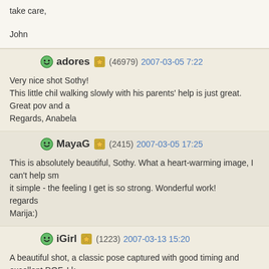take care,

John
adores (46979) 2007-03-05 7:22

Very nice shot Sothy!
This little chil walking slowly with his parents' help is just great. Great pov and a...
Regards, Anabela
MayaG (2415) 2007-03-05 17:25

This is absolutely beautiful, Sothy. What a heart-warming image, I can't help sm... it simple - the feeling I get is so strong. Wonderful work!
regards
Marija:)
iGirl (1223) 2007-03-13 15:20

A beautiful shot, a classic pose captured with good timing and excellent DOF. I k... keep the emphasis on the child.
TFS,
Erin